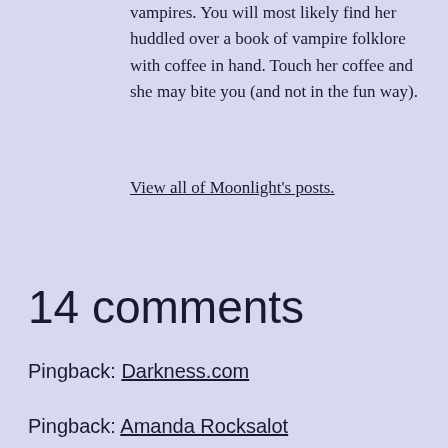vampires. You will most likely find her huddled over a book of vampire folklore with coffee in hand. Touch her coffee and she may bite you (and not in the fun way).
View all of Moonlight's posts.
14 comments
Pingback: Darkness.com
Pingback: Amanda Rocksalot